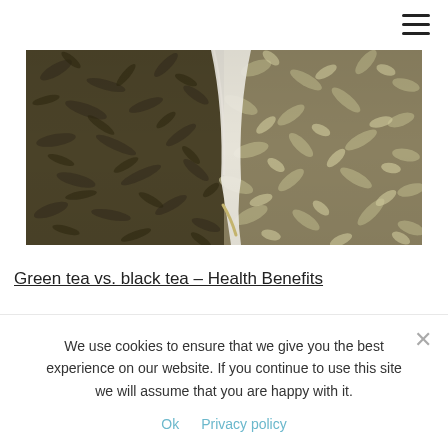[Figure (photo): Close-up photo of two types of dried tea leaves in white cups side by side — dark green/black gunpowder tea on the left and lighter curled white/green tea on the right]
Green tea vs. black tea – Health Benefits
We use cookies to ensure that we give you the best experience on our website. If you continue to use this site we will assume that you are happy with it.
Ok   Privacy policy